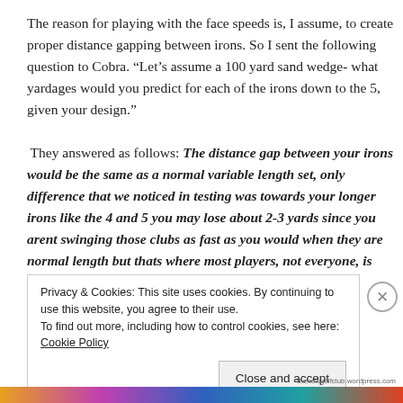The reason for playing with the face speeds is, I assume, to create proper distance gapping between irons. So I sent the following question to Cobra. “Let’s assume a 100 yard sand wedge- what yardages would you predict for each of the irons down to the 5, given your design.” They answered as follows: The distance gap between your irons would be the same as a normal variable length set, only difference that we noticed in testing was towards your longer irons like the 4 and 5 you may lose about 2-3 yards since you arent swinging those clubs as fast as you would when they are normal length but thats where most players, not everyone, is replacing long irons
Privacy & Cookies: This site uses cookies. By continuing to use this website, you agree to their use.
To find out more, including how to control cookies, see here: Cookie Policy
Close and accept